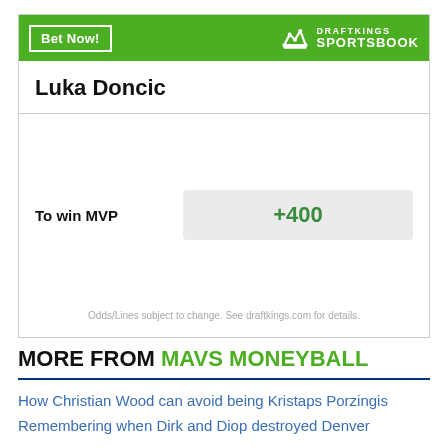[Figure (other): DraftKings Sportsbook widget showing Luka Doncic odds to win MVP at +400. Green header with 'Bet Now!' button and DraftKings Sportsbook logo. Player name 'Luka Doncic' in bold. Bet row showing 'To win MVP' label and '+400' odds in a gray pill. Disclaimer text at bottom.]
MORE FROM MAVS MONEYBALL
How Christian Wood can avoid being Kristaps Porzingis
Remembering when Dirk and Diop destroyed Denver